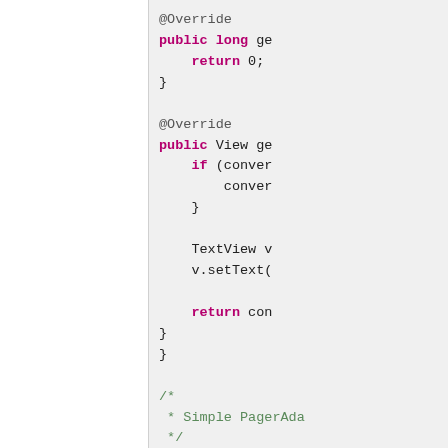Code snippet showing Java overridden methods and a private static class with PagerAdapter